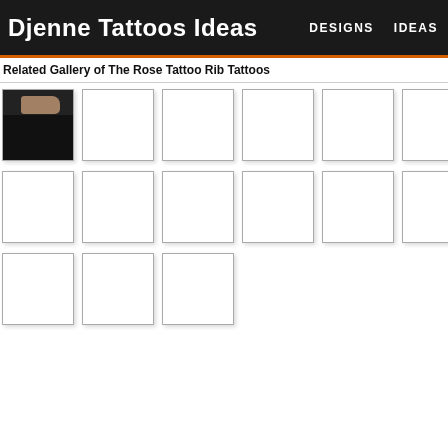Djenne Tattoos Ideas | DESIGNS | IDEAS
Related Gallery of The Rose Tattoo Rib Tattoos
[Figure (photo): Gallery grid of tattoo image thumbnails arranged in 3 rows. First row has 6 thumbnails, second row has 6 thumbnails, third row has 3 thumbnails. First thumbnail shows a partial face/chin image in dark tones. Remaining thumbnails are white/blank placeholders with gray borders.]